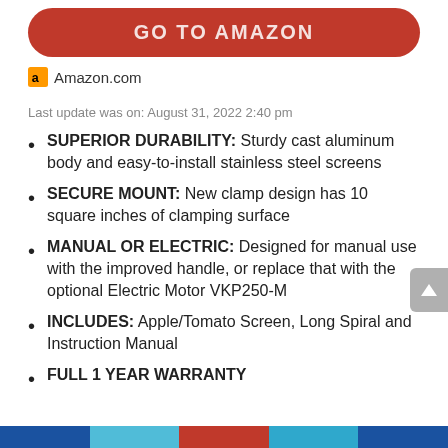[Figure (other): Red rounded button with text GO TO AMAZON]
Amazon.com
Last update was on: August 31, 2022 2:40 pm
SUPERIOR DURABILITY: Sturdy cast aluminum body and easy-to-install stainless steel screens
SECURE MOUNT: New clamp design has 10 square inches of clamping surface
MANUAL OR ELECTRIC: Designed for manual use with the improved handle, or replace that with the optional Electric Motor VKP250-M
INCLUDES: Apple/Tomato Screen, Long Spiral and Instruction Manual
FULL 1 YEAR WARRANTY